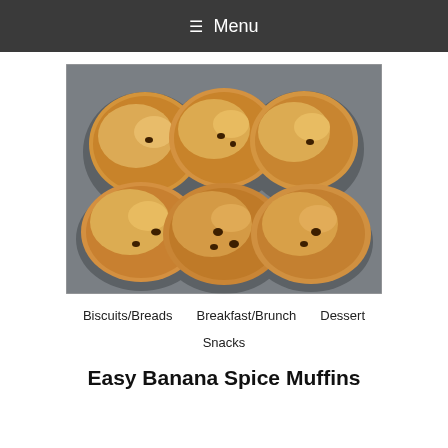☰ Menu
[Figure (photo): Six golden banana chocolate chip muffins in a dark metal muffin tin, viewed from above, showing domed tops with visible chocolate chips.]
Biscuits/Breads   Breakfast/Brunch   Dessert
Snacks
Easy Banana Spice Muffins